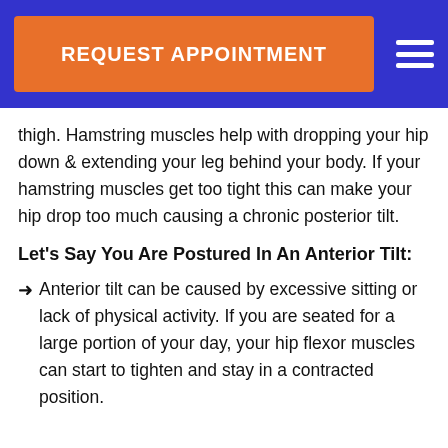REQUEST APPOINTMENT
thigh. Hamstring muscles help with dropping your hip down & extending your leg behind your body. If your hamstring muscles get too tight this can make your hip drop too much causing a chronic posterior tilt.
Let's Say You Are Postured In An Anterior Tilt:
➜ Anterior tilt can be caused by excessive sitting or lack of physical activity. If you are seated for a large portion of your day, your hip flexor muscles can start to tighten and stay in a contracted position.